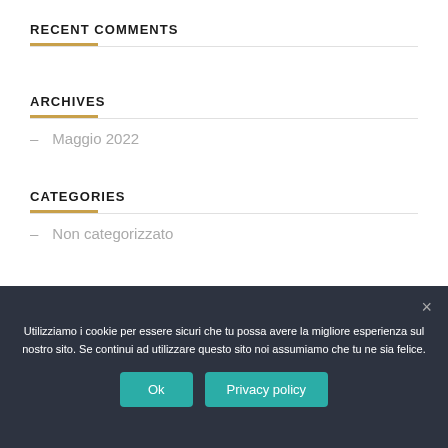RECENT COMMENTS
ARCHIVES
– Maggio 2022
CATEGORIES
– Non categorizzato
Utilizziamo i cookie per essere sicuri che tu possa avere la migliore esperienza sul nostro sito. Se continui ad utilizzare questo sito noi assumiamo che tu ne sia felice.
Ok | Privacy policy